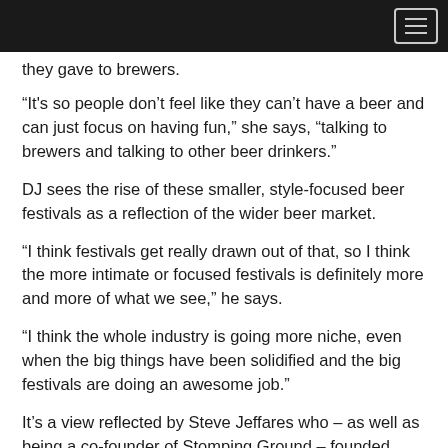they gave to brewers.
“It's so people don’t feel like they can’t have a beer and can just focus on having fun,” she says, “talking to brewers and talking to other beer drinkers.”
DJ sees the rise of these smaller, style-focused beer festivals as a reflection of the wider beer market.
“I think festivals get really drawn out of that, so I think the more intimate or focused festivals is definitely more and more of what we see,” he says.
“I think the whole industry is going more niche, even when the big things have been solidified and the big festivals are doing an awesome job.”
It’s a view reflected by Steve Jeffares who – as well as being a co-founder of Stomping Ground – founded